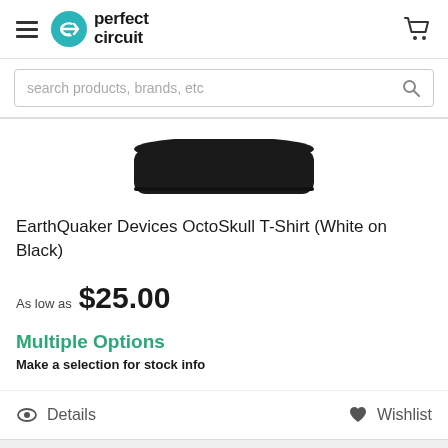Perfect Circuit
search products, brands, etc
[Figure (photo): Bottom portion of a black t-shirt folded/displayed, showing black fabric on white background]
EarthQuaker Devices OctoSkull T-Shirt (White on Black)
As low as $25.00
Multiple Options
Make a selection for stock info
Details   Wishlist